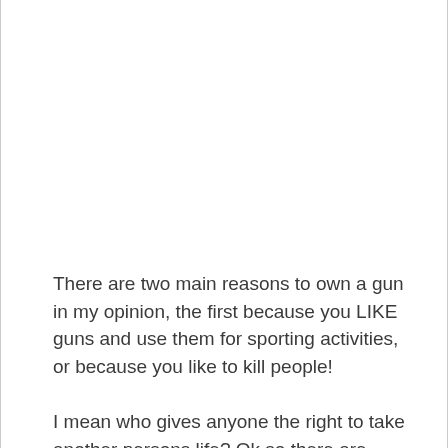There are two main reasons to own a gun in my opinion, the first because you LIKE guns and use them for sporting activities, or because you like to kill people!
I mean who gives anyone the right to take another persons life? Ok so there are situations where